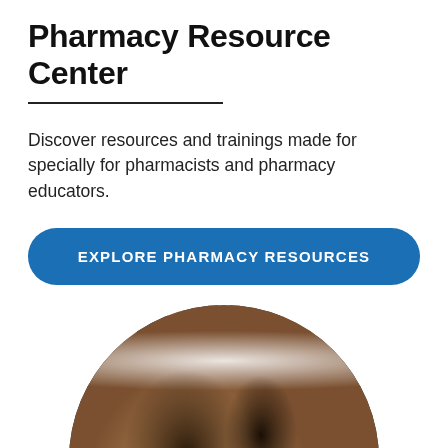Pharmacy Resource Center
Discover resources and trainings made for specially for pharmacists and pharmacy educators.
EXPLORE PHARMACY RESOURCES
[Figure (photo): Circular cropped photo of a young woman with dark hair, smiling, with a blurred background of dark vertical architectural elements and greenery.]